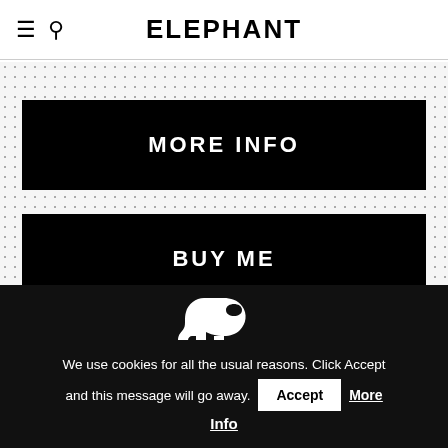ELEPHANT
MORE INFO
BUY ME
[Figure (logo): White elephant silhouette icon on black background]
We use cookies for all the usual reasons. Click Accept and this message will go away.
Accept
More Info